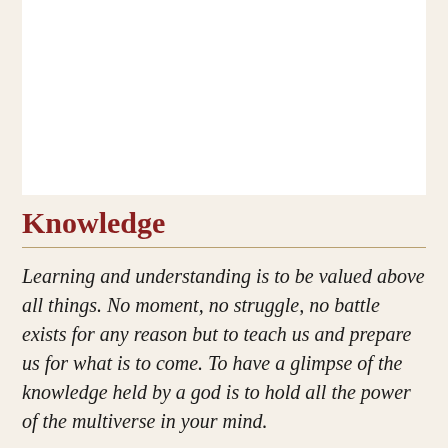[Figure (photo): White rectangular image area at the top of the page, representing a blank or image placeholder region.]
Knowledge
Learning and understanding is to be valued above all things. No moment, no struggle, no battle exists for any reason but to teach us and prepare us for what is to come. To have a glimpse of the knowledge held by a god is to hold all the power of the multiverse in your mind.